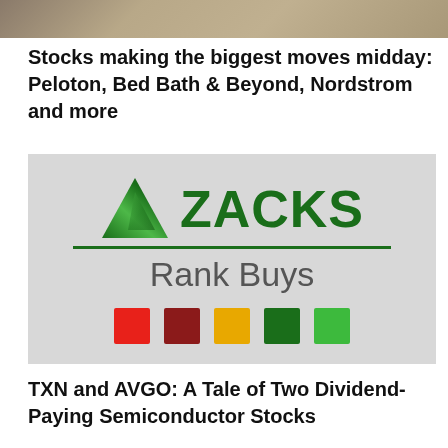[Figure (photo): Top portion of an image showing a person at a desk, partially cropped]
Stocks making the biggest moves midday: Peloton, Bed Bath & Beyond, Nordstrom and more
[Figure (logo): Zacks Rank Buys logo on gray background with green triangle, ZACKS text in dark green, 'Rank Buys' subtitle, and five colored squares (red, dark red, yellow/gold, dark green, bright green)]
TXN and AVGO: A Tale of Two Dividend-Paying Semiconductor Stocks